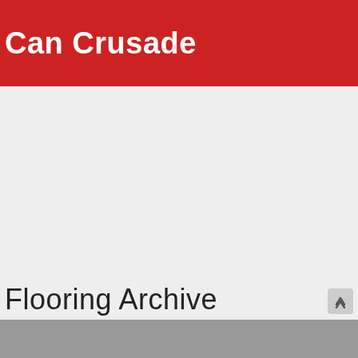Can Crusade
Flooring Archive
27 Bathroom Grade Laminate Flooring Ideas